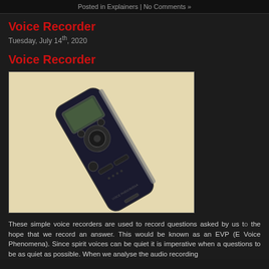Posted in Explainers | No Comments »
Voice Recorder
Tuesday, July 14th, 2020
Voice Recorder
[Figure (photo): A black digital voice recorder (Olympus brand) lying at an angle on a light beige/cream surface. The device has a small LCD screen, several control buttons, and a central navigation dial.]
These simple voice recorders are used to record questions asked by us to the hope that we record an answer. This would be known as an EVP (E Voice Phenomena). Since spirit voices can be quiet it is imperative when a questions to be as quiet as possible. When we analyse the audio recording